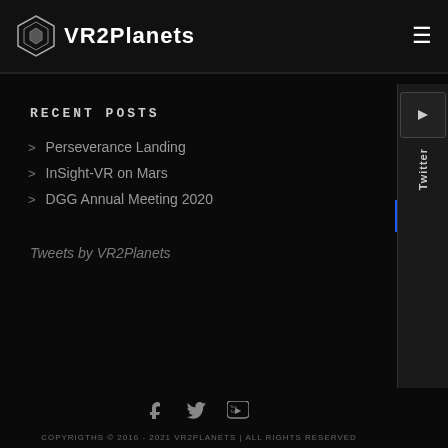VR2Planets
RECENT POSTS
Perseverance Landing
InSight-VR on Mars
DGG Annual Meeting 2020
Tweets by VR2Planets
COPYRIGTHS © 2016 - 2021 VR2PLANETS | ALL RIGHTS RESERVED